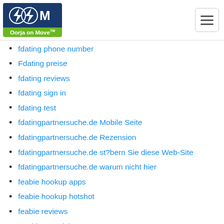[Figure (logo): Oorja on Move logo with lightning bolt symbols and green banner]
fdating phone number
Fdating preise
fdating reviews
fdating sign in
fdating test
fdatingpartnersuche.de Mobile Seite
fdatingpartnersuche.de Rezension
fdatingpartnersuche.de st?bern Sie diese Web-Site
fdatingpartnersuche.de warum nicht hier
feabie hookup apps
feabie hookup hotshot
feabie reviews
Feabiecom visitors
feeld dating
feeld reviews
Female Live Web Cams